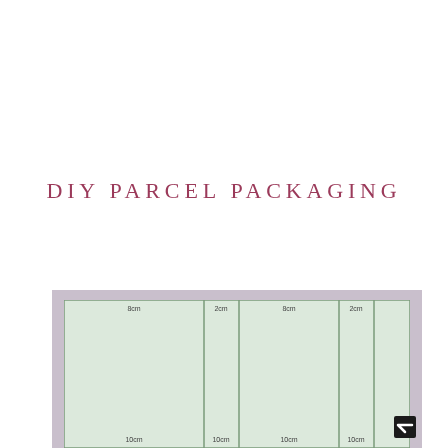DIY PARCEL PACKAGING
[Figure (photo): Photograph of a hand-drawn parcel packaging template on light green paper, showing multiple columns with dimensions labeled: 8cm, 2cm, 8cm, 2cm across the top, and 10cm, 10cm, 10cm, 10cm along the bottom, resting on a purple/lavender surface. A back-to-top arrow icon is visible in the lower right.]